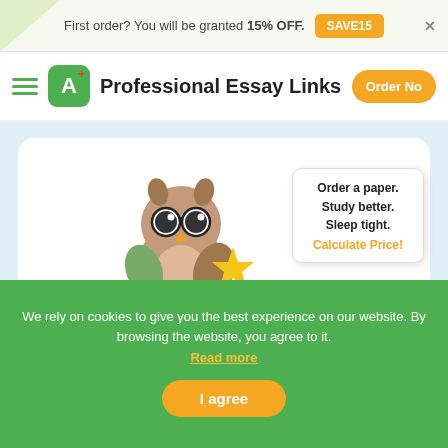First order? You will be granted 15% OFF. SAVE15
Professional Essay Links
[Figure (illustration): Owl mascot holding a gold star, wearing glasses, with a chat bubble saying 'Order a paper. Study better. Sleep tight. Calculate Price!']
assignment help 8156...
Order Grade A+ Academic Papers Instantly!...
We rely on cookies to give you the best experience on our website. By browsing the website, you agree to it. Read more
I agree